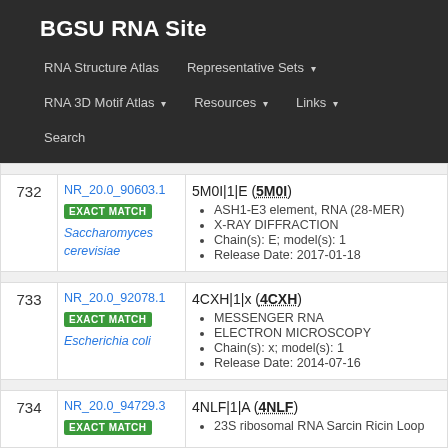BGSU RNA Site
RNA Structure Atlas | Representative Sets ▾ | RNA 3D Motif Atlas ▾ | Resources ▾ | Links ▾ | Search
| # | NR Set | PDB Entry |
| --- | --- | --- |
| 732 | NR_20.0_90603.1 EXACT MATCH Saccharomyces cerevisiae | 5M0I|1|E (5M0I) • ASH1-E3 element, RNA (28-MER) • X-RAY DIFFRACTION • Chain(s): E; model(s): 1 • Release Date: 2017-01-18 |
| 733 | NR_20.0_92078.1 EXACT MATCH Escherichia coli | 4CXH|1|x (4CXH) • MESSENGER RNA • ELECTRON MICROSCOPY • Chain(s): x; model(s): 1 • Release Date: 2014-07-16 |
| 734 | NR_20.0_94729.3 EXACT MATCH | 4NLF|1|A (4NLF) • 23S ribosomal RNA Sarcin Ricin Loop... |